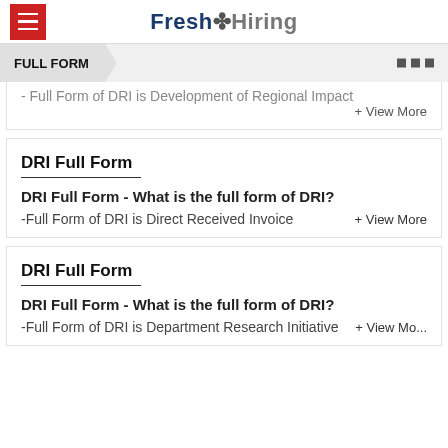Fresh Hiring
FULL FORM
- Full Form of DRI is Development of Regional Impact
+ View More
DRI Full Form
DRI Full Form - What is the full form of DRI?
-Full Form of DRI is Direct Received Invoice
+ View More
DRI Full Form
DRI Full Form - What is the full form of DRI?
-Full Form of DRI is Department Research Initiative
+ View More